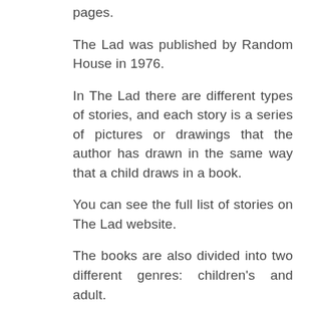pages.
The Lad was published by Random House in 1976.
In The Lad there are different types of stories, and each story is a series of pictures or drawings that the author has drawn in the same way that a child draws in a book.
You can see the full list of stories on The Lad website.
The books are also divided into two different genres: children's and adult.
The book is available in hardback and paperback editions.
You'll find the editions in the following countries: Austria, Belgium, Canada, Denmark, Finland, France, Germany, Iceland, Ireland, Italy, ...